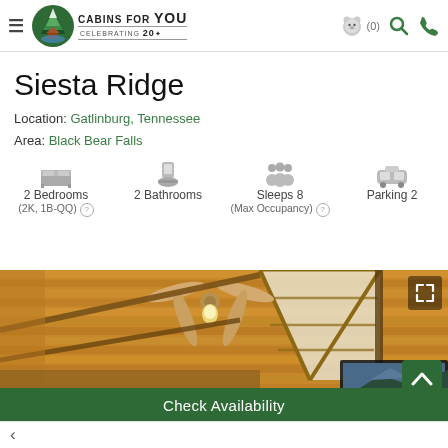Cabins for YOU — CELEBRATING 20 years | navigation bar with hamburger menu, logo, bear icon (0), search, phone
Siesta Ridge
Location: Gatlinburg, Tennessee
Area: Black Bear Falls
2 Bedrooms (2K, 1B-QQ) | 2 Bathrooms | Sleeps 8 (Max Occupancy) | Parking 2
[Figure (photo): Interior of a log cabin showing vaulted wood-paneled ceiling, ceiling fan with light, large triangular window, and a TV mounted on the wall]
Check Availability